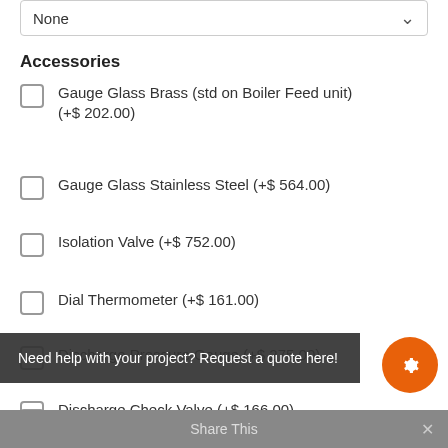None
Accessories
Gauge Glass Brass (std on Boiler Feed unit) (+$ 202.00)
Gauge Glass Stainless Steel (+$ 564.00)
Isolation Valve (+$ 752.00)
Dial Thermometer (+$ 161.00)
Discharge Pressure Gauge (+$ 275.00)
Discharge Check Valve (+$ 166.00)
Discharge Balancing Valve (+$ 212.00)
Solenoid Operated Valve (+$ 380.00)
Need help with your project? Request a quote here!
Share This